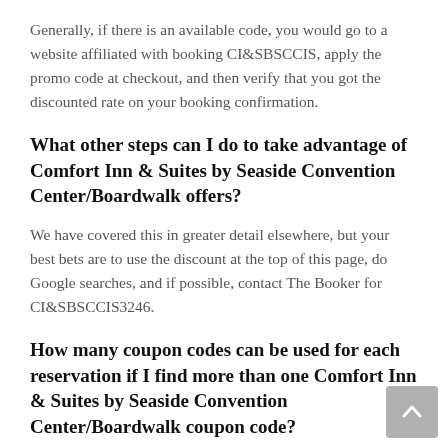Generally, if there is an available code, you would go to a website affiliated with booking CI&SBSCCIS, apply the promo code at checkout, and then verify that you got the discounted rate on your booking confirmation.
What other steps can I do to take advantage of Comfort Inn & Suites by Seaside Convention Center/Boardwalk offers?
We have covered this in greater detail elsewhere, but your best bets are to use the discount at the top of this page, do Google searches, and if possible, contact The Booker for CI&SBSCCIS3246.
How many coupon codes can be used for each reservation if I find more than one Comfort Inn & Suites by Seaside Convention Center/Boardwalk coupon code?